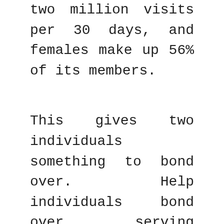two million visits per 30 days, and females make up 56% of its members.
This gives two individuals something to bond over. Help individuals bond over serving others. Assist push conversations along. 2. Profile. Message spotlight. Complete it when building your profile. Click to open up any profile preview from the results page to the member's full profile, which then provides you identical options as showing curiosity as you see within the day by day match section ship an